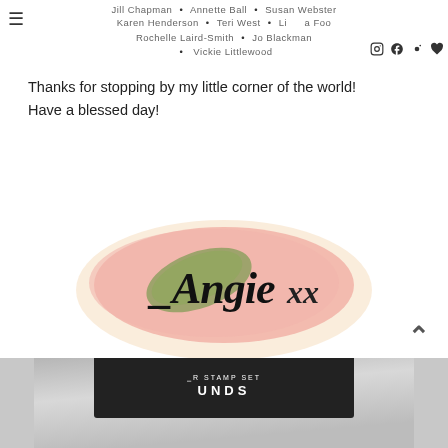Jill Chapman • Annette Ball • Susan Webster • Karen Henderson • Teri West • Linda Foo • Rochelle Laird-Smith • Jo Blackman • Vickie Littlewood
Thanks for stopping by my little corner of the world!
Have a blessed day!
[Figure (illustration): Watercolor signature logo reading '_Angie xx' in black script over a pink and peach watercolor wash with a green leaf element]
[Figure (photo): Partial photo of a stamp set product with text 'UNDS' visible on a dark label, silver tin packaging at the bottom of the page]